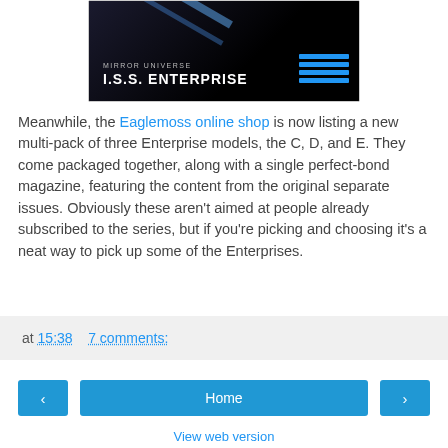[Figure (photo): Dark sci-fi style image showing 'MIRROR UNIVERSE I.S.S. ENTERPRISE' text with blue light streaks on black background, and blue horizontal lines on right side]
Meanwhile, the Eaglemoss online shop is now listing a new multi-pack of three Enterprise models, the C, D, and E. They come packaged together, along with a single perfect-bond magazine, featuring the content from the original separate issues. Obviously these aren't aimed at people already subscribed to the series, but if you're picking and choosing it's a neat way to pick up some of the Enterprises.
at 15:38   7 comments:
< Home > View web version